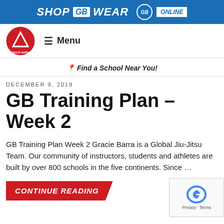SHOP GB WEAR GB ONLINE
[Figure (logo): Gracie Barra red circular logo with triangle symbol]
≡ Menu
📍 Find a School Near You!
DECEMBER 9, 2019
GB Training Plan – Week 2
GB Training Plan Week 2 Gracie Barra is a Global Jiu-Jitsu Team. Our community of instructors, students and athletes are built by over 800 schools in the five continents. Since …
CONTINUE READING